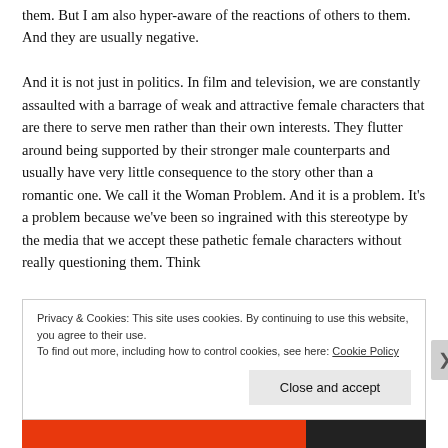them. But I am also hyper-aware of the reactions of others to them. And they are usually negative.

And it is not just in politics. In film and television, we are constantly assaulted with a barrage of weak and attractive female characters that are there to serve men rather than their own interests. They flutter around being supported by their stronger male counterparts and usually have very little consequence to the story other than a romantic one. We call it the Woman Problem. And it is a problem. It's a problem because we've been so ingrained with this stereotype by the media that we accept these pathetic female characters without really questioning them. Think
Privacy & Cookies: This site uses cookies. By continuing to use this website, you agree to their use.
To find out more, including how to control cookies, see here: Cookie Policy
Close and accept